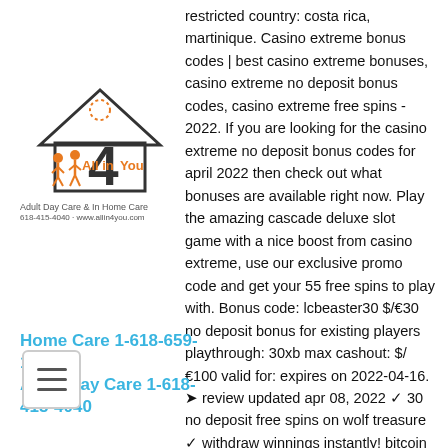[Figure (logo): All in 4 You logo with house graphic, orange figures, and text 'Adult Day Care & In Home Care' with phone and website]
restricted country: costa rica, martinique. Casino extreme bonus codes | best casino extreme bonuses, casino extreme no deposit bonus codes, casino extreme free spins - 2022. If you are looking for the casino extreme no deposit bonus codes for april 2022 then check out what bonuses are available right now. Play the amazing cascade deluxe slot game with a nice boost from casino extreme, use our exclusive promo code and get your 55 free spins to play with. Bonus code: lcbeaster30 $/€30 no deposit bonus for existing players playthrough: 30xb max cashout: $/€100 valid for: expires on 2022-04-16. ➤ review updated apr 08, 2022 ✓ 30 no deposit free spins on wolf treasure ✓ withdraw winnings instantly! bitcoin casino bonus) bitstarz (top neues bitcoin. No deposit bonus100free spins. Wager: 45x b; bonus code: ndb365; game(s): copy cat fortune. Televega casino
[Figure (logo): Navigation bar with Home Care and Adult Day Care phone numbers in blue, and hamburger menu icon]